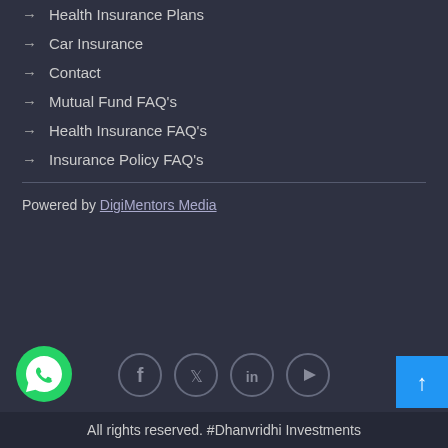→ Health Insurance Plans
→ Car Insurance
→ Contact
→ Mutual Fund FAQ's
→ Health Insurance FAQ's
→ Insurance Policy FAQ's
Powered by DigiMentors Media
[Figure (infographic): Social media icons: Facebook, Twitter, LinkedIn, YouTube in circle outlines; WhatsApp green circle button bottom-left; blue scroll-to-top button bottom-right]
All rights reserved. #Dhanvridhi Investments